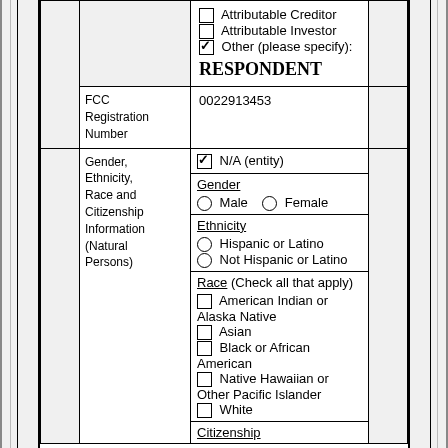|  |  | ☐ Attributable Creditor
☐ Attributable Investor
☑ Other (please specify):
RESPONDENT |  |
|  | FCC Registration Number | 0022913453 |  |
|  | Gender, Ethnicity, Race and Citizenship Information (Natural Persons) | ☑ N/A (entity)
Gender: ○ Male ○ Female
Ethnicity: ○ Hispanic or Latino ○ Not Hispanic or Latino
Race (Check all that apply): ☐ American Indian or Alaska Native ☐ Asian ☐ Black or African American ☐ Native Hawaiian or Other Pacific Islander ☐ White
Citizenship |  |